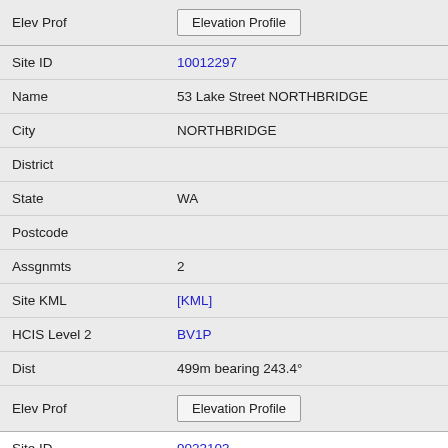| Field | Value |
| --- | --- |
| Elev Prof | Elevation Profile |
| Site ID | 10012297 |
| Name | 53 Lake Street NORTHBRIDGE |
| City | NORTHBRIDGE |
| District |  |
| State | WA |
| Postcode |  |
| Assgnmts | 2 |
| Site KML | [KML] |
| HCIS Level 2 | BV1P |
| Dist | 499m bearing 243.4° |
| Elev Prof | Elevation Profile |
| Site ID | 9023103 |
| Name | State Library of Western Australia 25 Francis Street PERTH |
| City | PERTH |
| District |  |